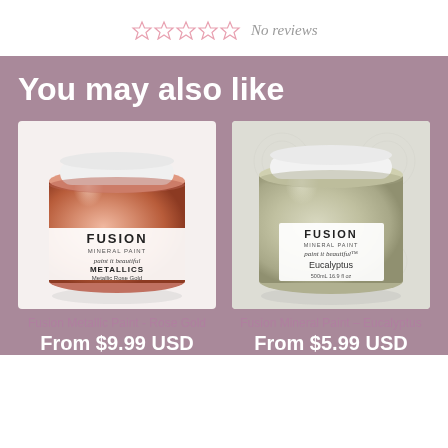☆ ☆ ☆ ☆ ☆  No reviews
You may also like
[Figure (photo): Fusion Mineral Paint Metallics Metallic Rose Gold 250mL 8.45 fl oz jar - rose gold metallic shimmery paint in a round glass jar with white lid]
Fusion Metallic Paint - Rose Gold
From $9.99 USD
[Figure (photo): Fusion Mineral Paint Eucalyptus 500mL 16.9 fl oz jar - sage/olive green paint in a round glass jar with white lid, decorative damask background]
Fusion Mineral Paint – Eucalyptus
From $5.99 USD